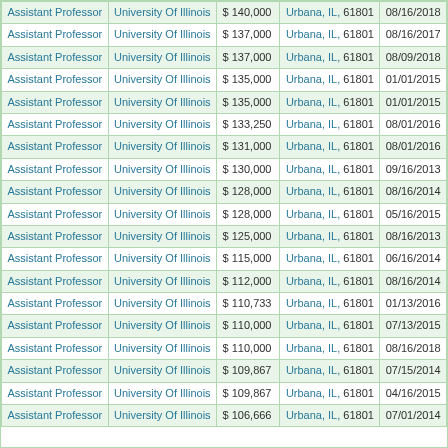| Assistant Professor | University Of Illinois | $ 140,000 | Urbana, IL, 61801 | 08/16/2018 |
| Assistant Professor | University Of Illinois | $ 137,000 | Urbana, IL, 61801 | 08/16/2017 |
| Assistant Professor | University Of Illinois | $ 137,000 | Urbana, IL, 61801 | 08/09/2018 |
| Assistant Professor | University Of Illinois | $ 135,000 | Urbana, IL, 61801 | 01/01/2015 |
| Assistant Professor | University Of Illinois | $ 135,000 | Urbana, IL, 61801 | 01/01/2015 |
| Assistant Professor | University Of Illinois | $ 133,250 | Urbana, IL, 61801 | 08/01/2016 |
| Assistant Professor | University Of Illinois | $ 131,000 | Urbana, IL, 61801 | 08/01/2016 |
| Assistant Professor | University Of Illinois | $ 130,000 | Urbana, IL, 61801 | 09/16/2013 |
| Assistant Professor | University Of Illinois | $ 128,000 | Urbana, IL, 61801 | 08/16/2014 |
| Assistant Professor | University Of Illinois | $ 128,000 | Urbana, IL, 61801 | 05/16/2015 |
| Assistant Professor | University Of Illinois | $ 125,000 | Urbana, IL, 61801 | 08/16/2013 |
| Assistant Professor | University Of Illinois | $ 115,000 | Urbana, IL, 61801 | 06/16/2014 |
| Assistant Professor | University Of Illinois | $ 112,000 | Urbana, IL, 61801 | 08/16/2014 |
| Assistant Professor | University Of Illinois | $ 110,733 | Urbana, IL, 61801 | 01/13/2016 |
| Assistant Professor | University Of Illinois | $ 110,000 | Urbana, IL, 61801 | 07/13/2015 |
| Assistant Professor | University Of Illinois | $ 110,000 | Urbana, IL, 61801 | 08/16/2018 |
| Assistant Professor | University Of Illinois | $ 109,867 | Urbana, IL, 61801 | 07/15/2014 |
| Assistant Professor | University Of Illinois | $ 109,867 | Urbana, IL, 61801 | 04/16/2015 |
| Assistant Professor | University Of Illinois | $ 106,666 | Urbana, IL, 61801 | 07/01/2014 |